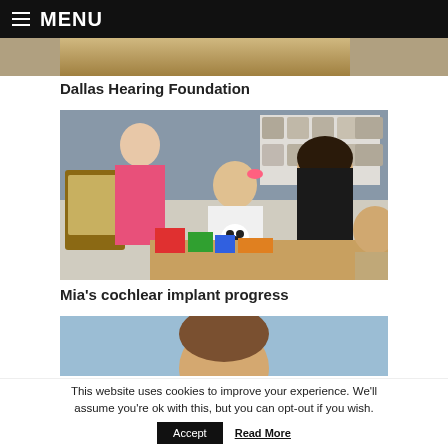MENU
[Figure (photo): Partially visible photo at top of page, cropped]
Dallas Hearing Foundation
[Figure (photo): Photo of a woman helping a young child with cochlear implant at a table with colorful toys, other people visible in background]
Mia's cochlear implant progress
[Figure (photo): Partially visible photo showing top of a child's head against blue background]
This website uses cookies to improve your experience. We'll assume you're ok with this, but you can opt-out if you wish.
Accept
Read More